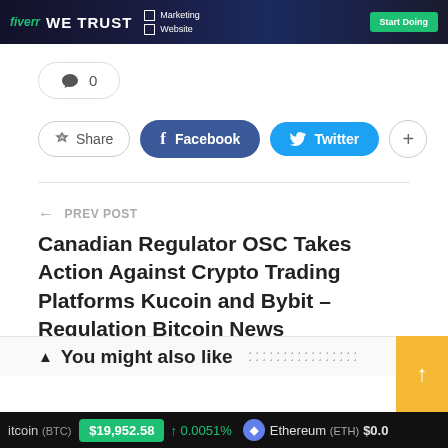[Figure (illustration): Fiverr banner advertisement with text WE TRUST, checkboxes for Marketing and Website, and a Start Doing button]
💬 0
Share  Facebook  Twitter  +
← PREV POST
Canadian Regulator OSC Takes Action Against Crypto Trading Platforms Kucoin and Bybit – Regulation Bitcoin News
▲ You might also like
itcoin (BTC)  $19,952.58  ↑ 0.0051%  Ethereum (ETH)  $0.0...